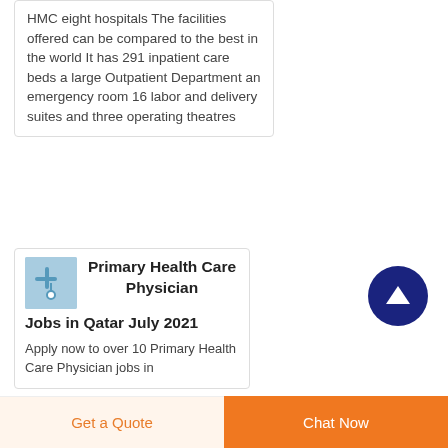HMC eight hospitals The facilities offered can be compared to the best in the world It has 291 inpatient care beds a large Outpatient Department an emergency room 16 labor and delivery suites and three operating theatres
[Figure (photo): Small thumbnail image with blue/light color, appears to be a medical or health-related icon]
Primary Health Care Physician Jobs in Qatar July 2021
Apply now to over 10 Primary Health Care Physician jobs in
Get a Quote   Chat Now